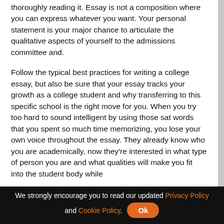thoroughly reading it. Essay is not a composition where you can express whatever you want. Your personal statement is your major chance to articulate the qualitative aspects of yourself to the admissions committee and.
Follow the typical best practices for writing a college essay, but also be sure that your essay tracks your growth as a college student and why transferring to this specific school is the right move for you. When you try too hard to sound intelligent by using those sat words that you spent so much time memorizing, you lose your own voice throughout the essay. They already know who you are academically, now they're interested in what type of person you are and what qualities will make you fit into the student body while
We strongly encourage you to read our updated Privacy Policy and Cookie Policy. Ok